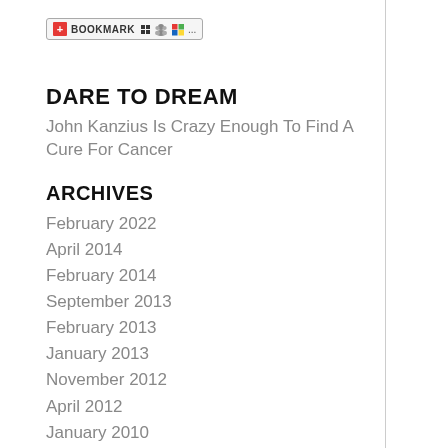[Figure (other): Bookmark toolbar/button with icons: red plus icon, BOOKMARK text, small square icon, person icon, Windows icon, ellipsis]
DARE TO DREAM
John Kanzius Is Crazy Enough To Find A Cure For Cancer
ARCHIVES
February 2022
April 2014
February 2014
September 2013
February 2013
January 2013
November 2012
April 2012
January 2010
October 2009
More...
CC